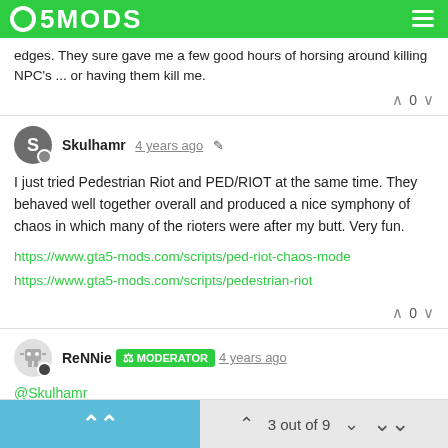5MODS
edges. They sure gave me a few good hours of horsing around killing NPC's ... or having them kill me.
Skulhamr 4 years ago
I just tried Pedestrian Riot and PED/RIOT at the same time. They behaved well together overall and produced a nice symphony of chaos in which many of the rioters were after my butt. Very fun.
https://www.gta5-mods.com/scripts/ped-riot-chaos-mode
https://www.gta5-mods.com/scripts/pedestrian-riot
ReNNie MODERATOR 4 years ago
@Skulhamr
I wouldn't mind having a look at your RiotMode_config.txt Mine is still pretty much as it came with the mod
3 out of 9